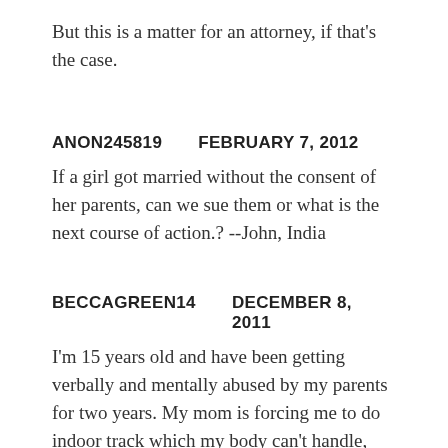But this is a matter for an attorney, if that's the case.
ANON245819   FEBRUARY 7, 2012
If a girl got married without the consent of her parents, can we sue them or what is the next course of action.? --John, India
BECCAGREEN14   DECEMBER 8, 2011
I'm 15 years old and have been getting verbally and mentally abused by my parents for two years. My mom is forcing me to do indoor track which my body can't handle, mentally or physically. She screams at me all the time for